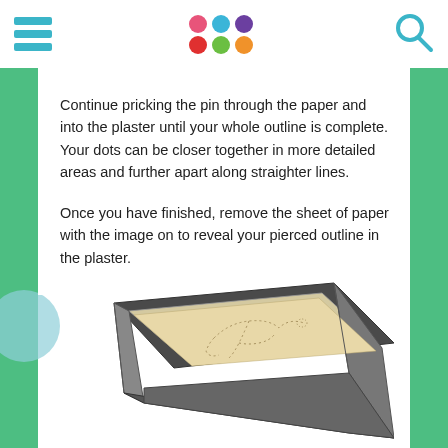[Figure (screenshot): Website header with hamburger menu icon, colorful dots logo, and search icon]
Continue pricking the pin through the paper and into the plaster until your whole outline is complete. Your dots can be closer together in more detailed areas and further apart along straighter lines.
Once you have finished, remove the sheet of paper with the image on to reveal your pierced outline in the plaster.
[Figure (illustration): Illustration of a rectangular tray with plaster block showing pierced outline of a bird design]